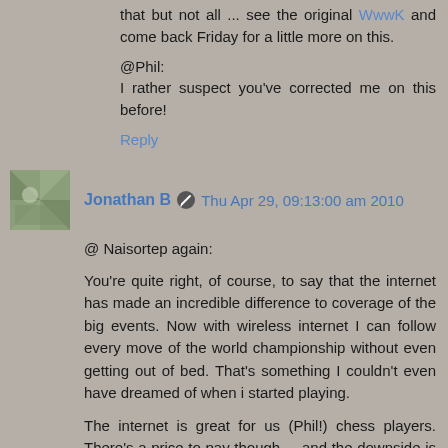that but not all ... see the original WwwK and come back Friday for a little more on this.
@Phil:
I rather suspect you've corrected me on this before!
Reply
Jonathan B  Thu Apr 29, 09:13:00 am 2010
@ Naisortep again:
You're quite right, of course, to say that the internet has made an incredible difference to coverage of the big events. Now with wireless internet I can follow every move of the world championship without even getting out of bed. That's something I couldn't even have dreamed of when i started playing.
The internet is great for us (Phil!) chess players. There's a price to pay though ... and the downside is the disappearance from the game as a mainstream news subject. Not that those two things have to go together.